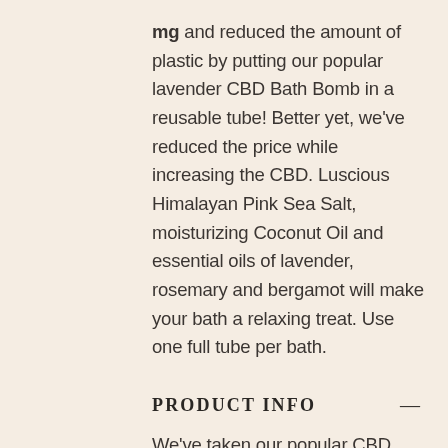mg and reduced the amount of plastic by putting our popular lavender CBD Bath Bomb in a reusable tube!  Better yet, we've reduced the price while increasing the CBD.  Luscious Himalayan Pink Sea Salt, moisturizing Coconut Oil and essential oils of lavender, rosemary and bergamot will make your bath a relaxing treat.  Use one full tube per bath.
PRODUCT INFO
We've taken our popular CBD Lavender Bath Bomb and doubled the CBD to 200 mg while reducing our plastic